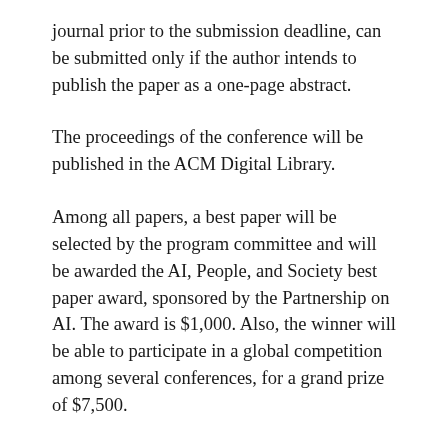journal prior to the submission deadline, can be submitted only if the author intends to publish the paper as a one-page abstract.
The proceedings of the conference will be published in the ACM Digital Library.
Among all papers, a best paper will be selected by the program committee and will be awarded the AI, People, and Society best paper award, sponsored by the Partnership on AI. The award is $1,000. Also, the winner will be able to participate in a global competition among several conferences, for a grand prize of $7,500.
A selected subset of the accepted papers will